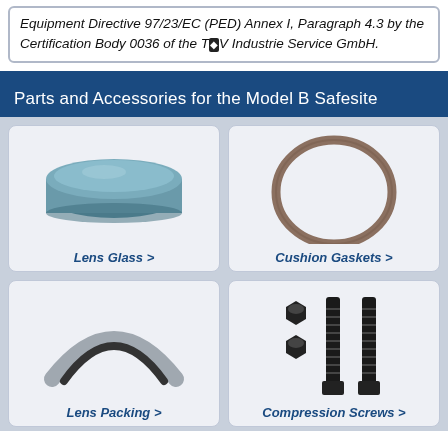Equipment Directive 97/23/EC (PED) Annex I, Paragraph 4.3 by the Certification Body 0036 of the TÜV Industrie Service GmbH.
Parts and Accessories for the Model B Safesite
[Figure (photo): Lens Glass component - a round blue-grey disc/puck]
Lens Glass >
[Figure (photo): Cushion Gaskets - a round ring/o-ring in brown/tan color]
Cushion Gaskets >
[Figure (photo): Lens Packing - a curved arch-shaped grey/black packing strip]
Lens Packing >
[Figure (photo): Compression Screws - two long black screws and two black nuts/bolts]
Compression Screws >